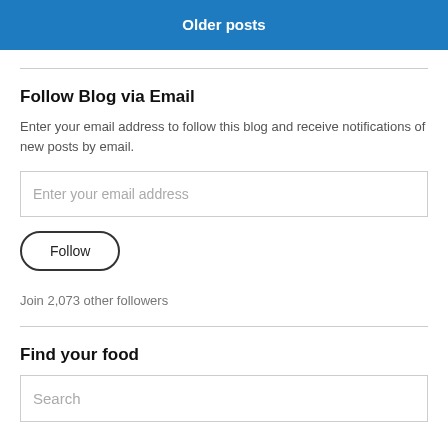Older posts
Follow Blog via Email
Enter your email address to follow this blog and receive notifications of new posts by email.
[Figure (screenshot): Email address text input field with placeholder text 'Enter your email address']
[Figure (screenshot): Follow button with rounded border]
Join 2,073 other followers
Find your food
[Figure (screenshot): Search text input field with placeholder text 'Search']